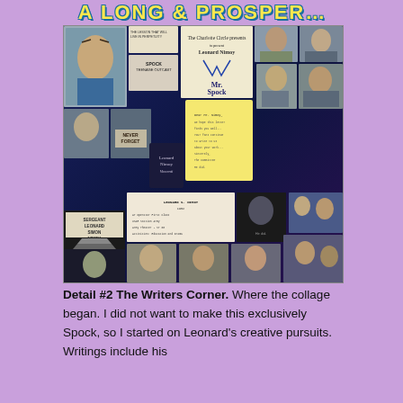A LONG & PROSPER…
[Figure (photo): A large collage of photographs featuring Leonard Nimoy throughout his life and career, including images as Mr. Spock, in military uniform labeled 'Sergeant Leonard Simon Nimoy', various candid and professional photos, book covers including 'Leonard Nimoy Vincenti', show posters including 'Mr. Spock and I', and many other images spanning his career. The collage has a blue/space background.]
Detail #2 The Writers Corner. Where the collage began. I did not want to make this exclusively Spock, so I started on Leonard's creative pursuits. Writings include his